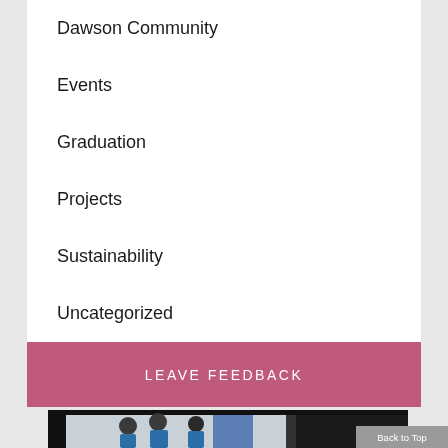Dawson Community
Events
Graduation
Projects
Sustainability
Uncategorized
LEAVE FEEDBACK
[Figure (photo): Healthcare workers in scrubs in a clinical setting, viewed through a window or door frame]
Back to Top